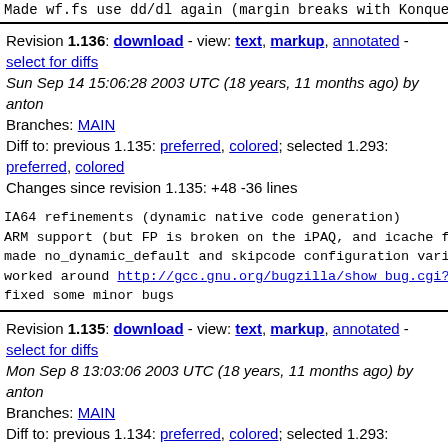Made wf.fs use dd/dl again (margin breaks with Konqueror...
Revision 1.136: download - view: text, markup, annotated - select for diffs
Sun Sep 14 15:06:28 2003 UTC (18 years, 11 months ago) by anton
Branches: MAIN
Diff to: previous 1.135: preferred, colored; selected 1.293: preferred, colored
Changes since revision 1.135: +48 -36 lines
IA64 refinements (dynamic native code generation)
ARM support (but FP is broken on the iPAQ, and icache flu...
made no_dynamic_default and skipcode configuration variab...
worked around http://gcc.gnu.org/bugzilla/show_bug.cgi?id=...
fixed some minor bugs
Revision 1.135: download - view: text, markup, annotated - select for diffs
Mon Sep 8 13:03:06 2003 UTC (18 years, 11 months ago) by anton
Branches: MAIN
Diff to: previous 1.134: preferred, colored; selected 1.293: preferred, colored
Changes since revision 1.134: +6 -0 lines